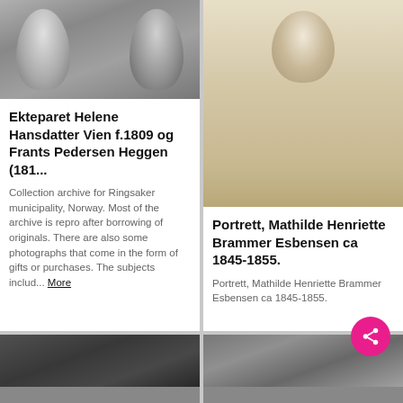[Figure (photo): Black and white photograph of a couple, Helene Hansdatter Vien and Frants Pedersen Heggen, top of left card]
[Figure (photo): Sepia portrait photograph of Mathilde Henriette Brammer Esbensen, ca 1845-1855, top of right card]
Ekteparet Helene Hansdatter Vien f.1809 og Frants Pedersen Heggen (181...
Collection archive for Ringsaker municipality, Norway. Most of the archive is repro after borrowing of originals. There are also some photographs that come in the form of gifts or purchases. The subjects includ... More
Portrett, Mathilde Henriette Brammer Esbensen ca 1845-1855.
Portrett, Mathilde Henriette Brammer Esbensen ca 1845-1855.
[Figure (photo): Dark grayscale photograph at bottom left, partial view]
[Figure (photo): Grayscale outdoor photograph at bottom right, partial view]